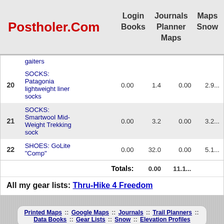Postholer.Com | Login | Journals | Maps | Data Books | Planner | Snow | Google Maps
| # | Item |  |  |  |  |
| --- | --- | --- | --- | --- | --- |
|  | gaiters |  |  |  |  |
| 20 | SOCKS: Patagonia lightweight liner socks | 0.00 | 1.4 | 0.00 | 2.9... |
| 21 | SOCKS: Smartwool Mid-Weight Trekking sock | 0.00 | 3.2 | 0.00 | 3.2... |
| 22 | SHOES: GoLite "Comp" | 0.00 | 32.0 | 0.00 | 5.1... |
|  | Totals: |  | 0.00 | 11.1... |  |
All my gear lists: Thru-Hike 4 Freedom
Printed Maps :: Google Maps :: Journals :: Trail Planners :: Data Books :: Gear Lists :: Snow :: Elevation Profiles
Postholer.Com © 2005-2022 - Sitemap - W3C - @postholer - GIS Portfolio